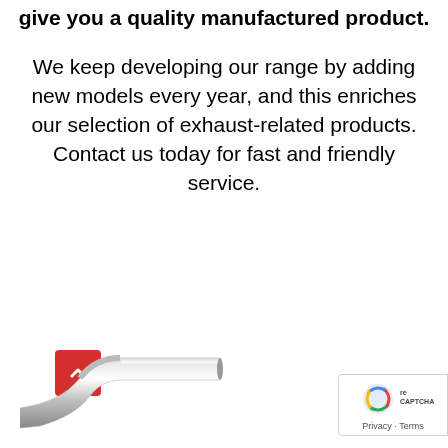give you a quality manufactured product.
We keep developing our range by adding new models every year, and this enriches our selection of exhaust-related products. Contact us today for fast and friendly service.
[Figure (photo): Partial view of a chrome/silver exhaust pipe component at the bottom of the page, with a red back-to-top button (chevron up icon) and a Google reCAPTCHA badge on the right side.]